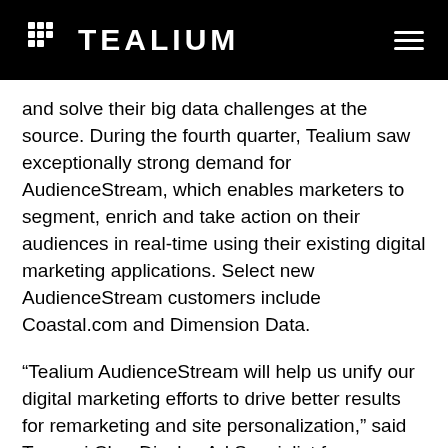TEALIUM
and solve their big data challenges at the source. During the fourth quarter, Tealium saw exceptionally strong demand for AudienceStream, which enables marketers to segment, enrich and take action on their audiences in real-time using their existing digital marketing applications. Select new AudienceStream customers include Coastal.com and Dimension Data.
“Tealium AudienceStream will help us unify our digital marketing efforts to drive better results for remarketing and site personalization,” said Tomomi Chu, Display Ad Specialist for